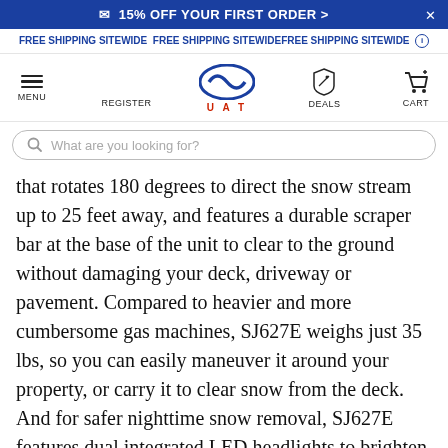✉ 15% OFF YOUR FIRST ORDER >
FREE SHIPPING SITEWIDE FREE SHIPPING SITEWIDEFREE SHIPPING SITEWIDE ⓘ
[Figure (screenshot): Website navigation bar with hamburger menu, REGISTER, UAT logo (oval S shape), DEALS, and CART icons]
[Figure (screenshot): Search bar with placeholder text: What are you looking for?]
that rotates 180 degrees to direct the snow stream up to 25 feet away, and features a durable scraper bar at the base of the unit to clear to the ground without damaging your deck, driveway or pavement. Compared to heavier and more cumbersome gas machines, SJ627E weighs just 35 lbs, so you can easily maneuver it around your property, or carry it to clear snow from the deck. And for safer nighttime snow removal, SJ627E features dual integrated LED headlights to brighten the way for increased nighttime visibility.